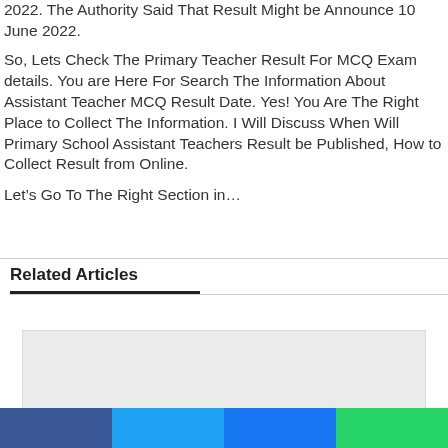2022. The Authority Said That Result Might be Announce 10 June 2022.
So, Lets Check The Primary Teacher Result For MCQ Exam details. You are Here For Search The Information About Assistant Teacher MCQ Result Date. Yes! You Are The Right Place to Collect The Information. I Will Discuss When Will Primary School Assistant Teachers Result be Published, How to Collect Result from Online.
Let’s Go To The Right Section in...
Related Articles
[Figure (other): Gray placeholder card for a related article thumbnail]
[Figure (other): Social share bar with four colored buttons: blue (Facebook), light blue (Twitter), medium blue (Google+/Share), green (WhatsApp)]